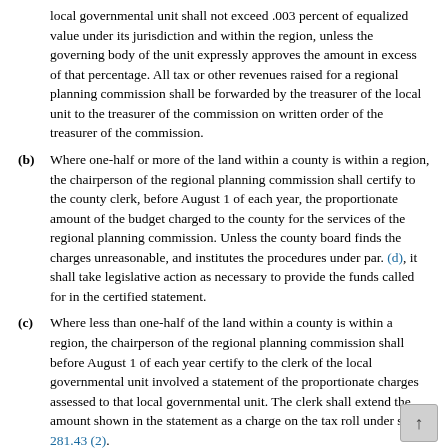local governmental unit shall not exceed .003 percent of equalized value under its jurisdiction and within the region, unless the governing body of the unit expressly approves the amount in excess of that percentage. All tax or other revenues raised for a regional planning commission shall be forwarded by the treasurer of the local unit to the treasurer of the commission on written order of the treasurer of the commission.
(b) Where one-half or more of the land within a county is within a region, the chairperson of the regional planning commission shall certify to the county clerk, before August 1 of each year, the proportionate amount of the budget charged to the county for the services of the regional planning commission. Unless the county board finds the charges unreasonable, and institutes the procedures under par. (d), it shall take legislative action as necessary to provide the funds called for in the certified statement.
(c) Where less than one-half of the land within a county is within a region, the chairperson of the regional planning commission shall before August 1 of each year certify to the clerk of the local governmental unit involved a statement of the proportionate charges assessed to that local governmental unit. The clerk shall extend the amount shown in the statement as a charge on the tax roll under s. 281.43 (2).